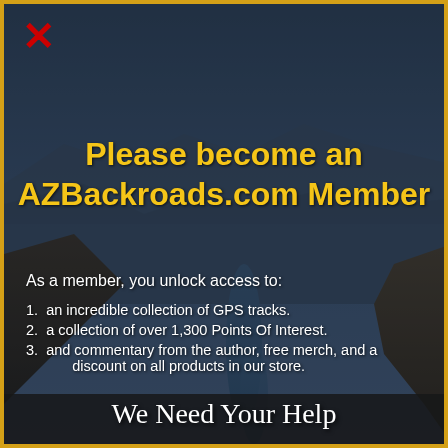[Figure (photo): Background photo of a dramatic canyon landscape with a river winding through rocky cliffs under a dark blue-grey sky.]
Please become an AZBackroads.com Member
As a member, you unlock access to:
1. an incredible collection of GPS tracks.
2. a collection of over 1,300 Points Of Interest.
3. and commentary from the author, free merch, and a discount on all products in our store.
We Need Your Help